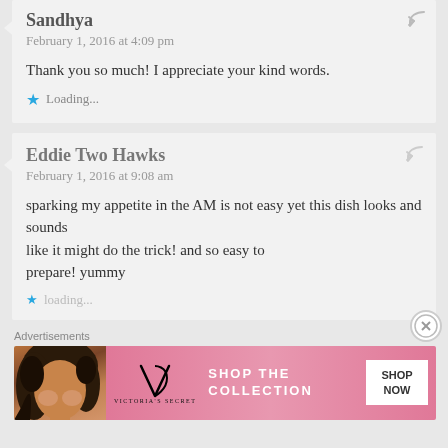Sandhya
February 1, 2016 at 4:09 pm
Thank you so much! I appreciate your kind words.
Loading...
Eddie Two Hawks
February 1, 2016 at 9:08 am
sparking my appetite in the AM is not easy yet this dish looks and sounds like it might do the trick! and so easy to prepare! yummy
Advertisements
[Figure (infographic): Victoria's Secret advertisement banner: pink background, model photo on left, VS logo in center, 'SHOP THE COLLECTION' text, and 'SHOP NOW' white button on right]